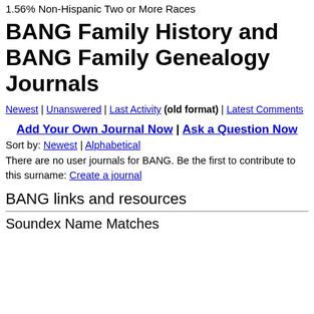1.56% Non-Hispanic Two or More Races
BANG Family History and BANG Family Genealogy Journals
Newest | Unanswered | Last Activity (old format) | Latest Comments
Add Your Own Journal Now | Ask a Question Now
Sort by: Newest | Alphabetical
There are no user journals for BANG. Be the first to contribute to this surname: Create a journal
BANG links and resources
Soundex Name Matches